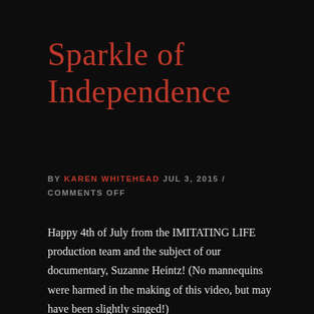Sparkle of Independence
BY KAREN WHITEHEAD JUL 3, 2015 / COMMENTS OFF
Happy 4th of July from the IMITATING LIFE production team and the subject of our documentary, Suzanne Heintz! (No mannequins were harmed in the making of this video, but may have been slightly singed!)